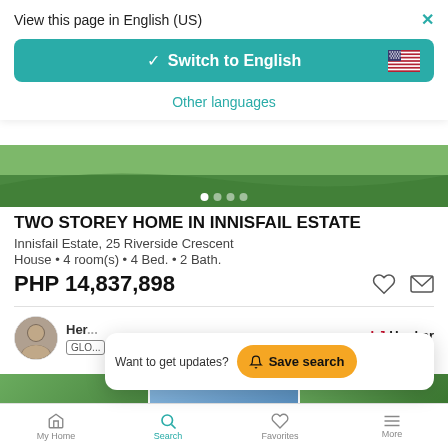View this page in English (US)
Switch to English
Other languages
TWO STOREY HOME IN INNISFAIL ESTATE
Innisfail Estate, 25 Riverside Crescent
House • 4 room(s) • 4 Bed. • 2 Bath.
PHP 14,837,898
Want to get updates?  Save search
LJ Hooker
My Home | Search | Favorites | More